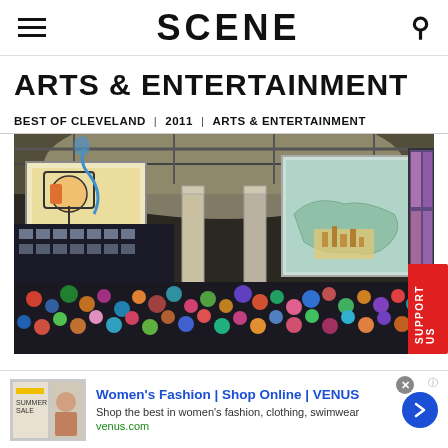SCENE
ARTS & ENTERTAINMENT
BEST OF CLEVELAND | 2011 | ARTS & ENTERTAINMENT
[Figure (illustration): Comic-book style illustration of a large indoor venue filled with a crowd, featuring large projected screens with colorful artwork, exposed ceiling beams, and pillars.]
[Figure (other): Advertisement: Women's Fashion | Shop Online | VENUS. Shop the best in women's fashion, clothing, swimwear. venus.com]